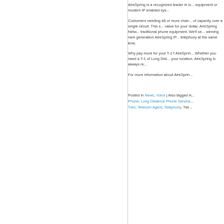AireSpring is a recognized leader in lo... equipment or modern IP enabled sys...
Customers needing 48 or more chan... of capacity over a single circuit. This s... value for your dollar. AireSpring Netw... traditional phone equipment. We'll se... winning next generation AireSpring IP... telephony at the same time.
Why pay more for your T-1? AireSprin... Whether you need a T-1 of Long Dist... your location. AireSpring is always re...
For more information about AireSprin...
Posted in News, Voice | Also tagged A... Phone, Long Distance Phone Service... Tdm, Telecom Agent, Telephony, Tier...